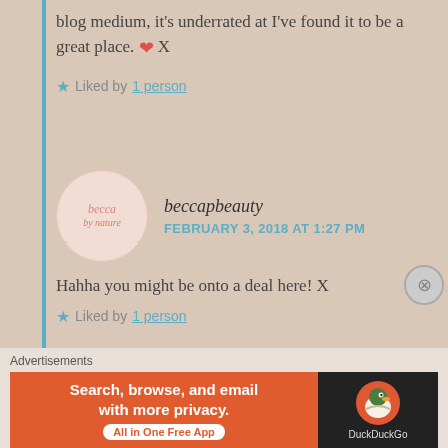blog medium, it's underrated at I've found it to be a great place. ❤ X
★ Liked by 1 person
beccapbeauty
FEBRUARY 3, 2018 AT 1:27 PM
Hahha you might be onto a deal here! X
★ Liked by 1 person
tattletalesweb
Advertisements
Search, browse, and email with more privacy. All in One Free App